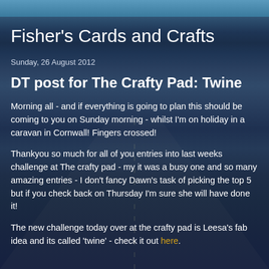Fisher's Cards and Crafts
Sunday, 26 August 2012
DT post for The Crafty Pad: Twine
Morning all - and if everything is going to plan this should be coming to you on Sunday morning - whilst I'm on holiday in a caravan in Cornwall! Fingers crossed!
Thankyou so much for all of you entries into last weeks challenge at The crafty pad - my it was a busy one and so many amazing entries - I don't fancy Dawn's task of picking the top 5 but if you check back on Thursday I'm sure she will have done it!
The new challenge today over at the crafty pad is Leesa's fab idea and its called 'twine' - check it out here.